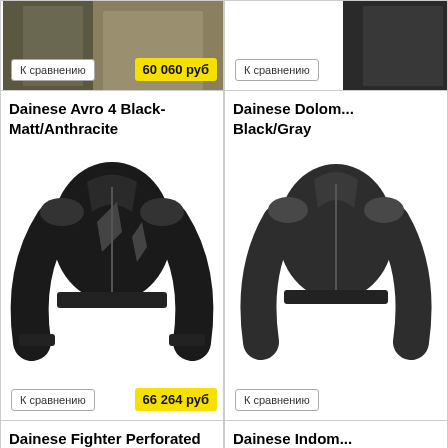[Figure (photo): Partial view of a jacket (olive/tan color), cropped at top]
К сравнению
60 060 руб
[Figure (photo): Partial right column product - cropped]
К сравнению
Dainese Avro 4 Black-Matt/Anthracite
[Figure (photo): Dainese Avro 4 Black-Matt/Anthracite motorcycle jacket, black with anthracite details]
К сравнению
66 264 руб
Dainese Dolom... Black/Gray
[Figure (photo): Dainese Dolomite Black/Gray jacket, partial view]
К сравнению
Dainese Fighter Perforated Black/Black
[Figure (photo): Dainese Fighter Perforated Black/Black motorcycle leather jacket]
71 140 руб
Dainese Indom... Black-Matt/Re...
[Figure (photo): Dainese Indomitable jacket partial view]